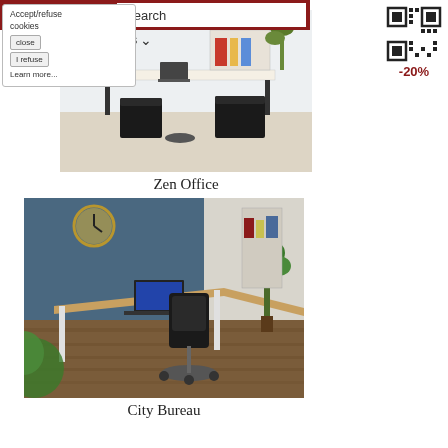Search
Accept/refuse cookies
close
Catalog filters
I refuse
Learn more...
[Figure (other): QR code with -20% discount label]
[Figure (photo): Office furniture photo showing a desk with black cube ottomans — Zen Office collection]
Zen Office
[Figure (photo): Modern office furniture photo showing a wood-top desk with a black ergonomic chair — City Bureau collection]
City Bureau